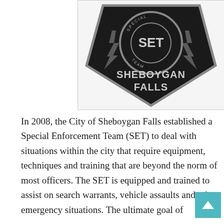[Figure (photo): A black embroidered law enforcement patch for the Sheboygan Falls Special Enforcement Team (SET). The patch is shield/badge shaped, black with silver/gray text and design elements. In the center is a circular design with 'SPECIAL ENFORCEMENT TEAM' around the outside and 'SET' in the center. Lightning bolts flank the circle. Below reads 'SHEBOYGAN FALLS' in large silver letters.]
In 2008, the City of Sheboygan Falls established a Special Enforcement Team (SET) to deal with situations within the city that require equipment, techniques and training that are beyond the norm of most officers. The SET is equipped and trained to assist on search warrants, vehicle assaults and other emergency situations. The ultimate goal of